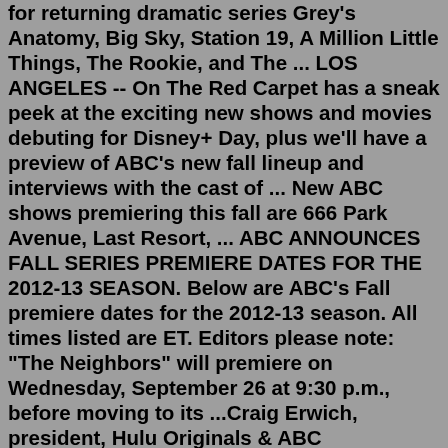for returning dramatic series Grey's Anatomy, Big Sky, Station 19, A Million Little Things, The Rookie, and The ... LOS ANGELES -- On The Red Carpet has a sneak peek at the exciting new shows and movies debuting for Disney+ Day, plus we'll have a preview of ABC's new fall lineup and interviews with the cast of ... New ABC shows premiering this fall are 666 Park Avenue, Last Resort, ... ABC ANNOUNCES FALL SERIES PREMIERE DATES FOR THE 2012-13 SEASON. Below are ABC's Fall premiere dates for the 2012-13 season. All times listed are ET. Editors please note: "The Neighbors" will premiere on Wednesday, September 26 at 9:30 p.m., before moving to its ...Craig Erwich, president, Hulu Originals & ABC Entertainment, today unveiled the ABC primetime schedule for the 2022- 2023 fall season, featuring a strong, returning slate of established, fan-favorite shows and two new powerhouse scripted series, both anchored by bold and compelling female leads. Additionally, ABC adds a sprinkle of star power to long-running game show